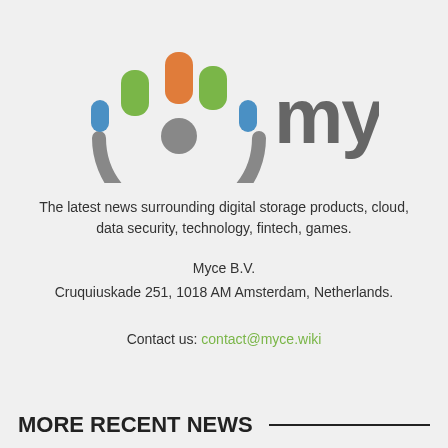[Figure (logo): Myce logo with colorful rounded rectangle icons arranged in a circle and stylized 'myce' text in gray]
The latest news surrounding digital storage products, cloud, data security, technology, fintech, games.
Myce B.V.
Cruquiuskade 251, 1018 AM Amsterdam, Netherlands.
Contact us: contact@myce.wiki
MORE RECENT NEWS